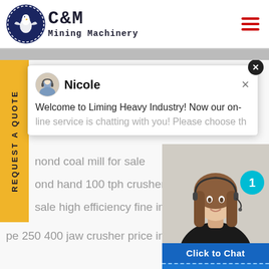[Figure (logo): C&M Mining Machinery logo with eagle/gear emblem in dark blue circle, company name in block monospace font]
[Figure (screenshot): Chat popup from Nicole welcoming user to Liming Heavy Industry with customer service representative photo, Click to Chat button, and Enquiry section]
nond coal mill for sale
ond hand 100 tph crusher in moroc
sale high efficiency fine impact cru
pe 250 400 jaw crusher price in Thailan